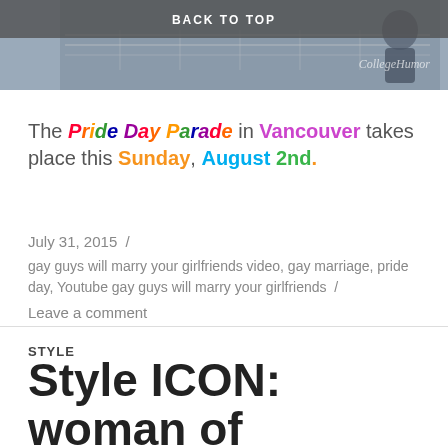[Figure (photo): Background image showing a tennis net or similar outdoor scene, partially obscured. Overlay shows 'BACK TO TOP' text bar and 'CollegeHumor' watermark.]
The Pride Day Parade in Vancouver takes place this Sunday, August 2nd.
July 31, 2015
gay guys will marry your girlfriends video, gay marriage, pride day, Youtube gay guys will marry your girlfriends
Leave a comment
STYLE
Style ICON: woman of substance – Charlotte Rampling